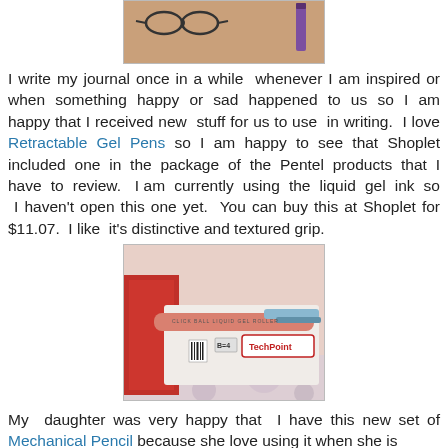[Figure (photo): Top portion of a photo showing a desk with glasses and a purple pen/marker visible on a wooden surface]
I write my journal once in a while  whenever I am inspired or when  something  happy  or  sad  happened  to  us  so  I  am happy that I received new  stuff for us to use  in writing.  I love Retractable Gel Pens so I am happy to see that Shoplet included  one  in  the  package  of  the  Pentel  products  that  I have  to  review.   I am  currently  using  the  liquid  gel  ink  so  I haven't open this one yet.  You can buy this at Shoplet for $11.07.  I like  it's distinctive and textured grip.
[Figure (photo): Photo of a Pentel retractable liquid gel roller pen in its packaging. The pen appears to be orange/red colored with a silver blue tip, shown in a red and white retail package.]
My  daughter was very happy that  I have this new set of Mechanical Pencil because she love using it when she is